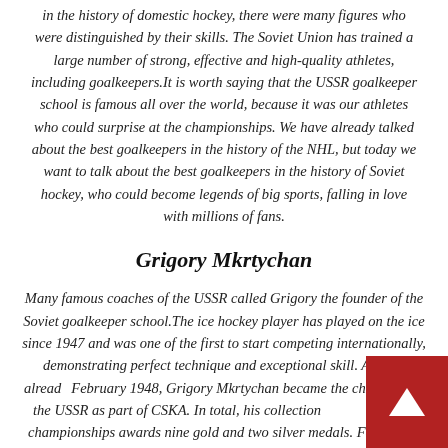in the history of domestic hockey, there were many figures who were distinguished by their skills. The Soviet Union has trained a large number of strong, effective and high-quality athletes, including goalkeepers.It is worth saying that the USSR goalkeeper school is famous all over the world, because it was our athletes who could surprise at the championships. We have already talked about the best goalkeepers in the history of the NHL, but today we want to talk about the best goalkeepers in the history of Soviet hockey, who could become legends of big sports, falling in love with millions of fans.
Grigory Mkrtychan
Many famous coaches of the USSR called Grigory the founder of the Soviet goalkeeper school.The ice hockey player has played on the ice since 1947 and was one of the first to start competing internationally, demonstrating perfect technique and exceptional skill. And so, already February 1948, Grigory Mkrtychan became the champ of the USSR as part of CSKA. In total, his collection Union championships awards nine gold and two silver medals. Four times he became the owner of the USSR